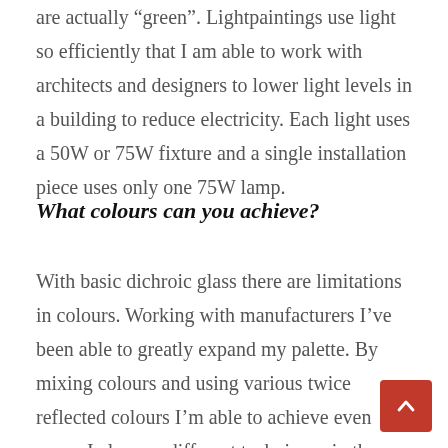are actually “green”. Lightpaintings use light so efficiently that I am able to work with architects and designers to lower light levels in a building to reduce electricity. Each light uses a 50W or 75W fixture and a single installation piece uses only one 75W lamp.
What colours can you achieve?
With basic dichroic glass there are limitations in colours. Working with manufacturers I’ve been able to greatly expand my palette. By mixing colours and using various twice reflected colours I’m able to achieve even more. I also use different techniques in the